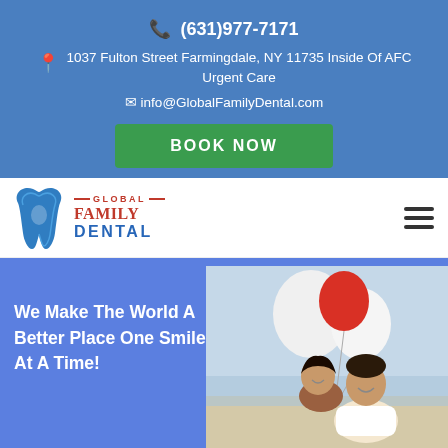📞 (631)977-7171
1037 Fulton Street Farmingdale, NY 11735 Inside Of AFC Urgent Care
✉ info@GlobalFamilyDental.com
BOOK NOW
[Figure (logo): Global Family Dental logo with tooth icon in blue]
We Make The World A Better Place One Smile At A Time!
[Figure (photo): A smiling couple holding balloons outdoors]
Call Us: (631)977-7171